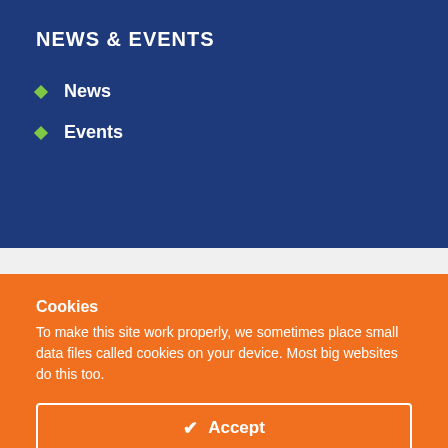NEWS & EVENTS
News
Events
Cookies
To make this site work properly, we sometimes place small data files called cookies on your device. Most big websites do this too.
✔ Accept